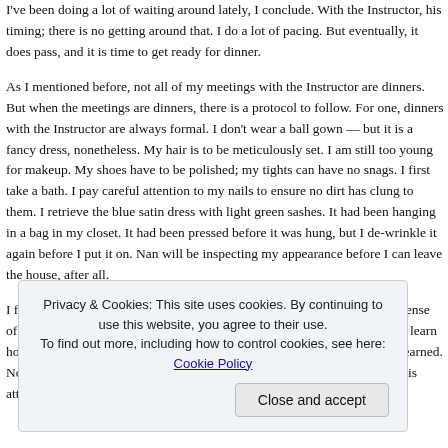I've been doing a lot of waiting around lately, I conclude. With the Instructor, his timing; there is no getting around that. I do a lot of pacing. But eventually, it does pass, and it is time to get ready for dinner.
As I mentioned before, not all of my meetings with the Instructor are dinners. But when the meetings are dinners, there is a protocol to follow. For one, dinners with the Instructor are always formal. I don't wear a ball gown — but it is a fancy dress, nonetheless. My hair is to be meticulously set. I am still too young for makeup. My shoes have to be polished; my tights can have no snags. I first take a bath. I pay careful attention to my nails to ensure no dirt has clung to them. I retrieve the blue satin dress with light green sashes. It had been hanging in a bag in my closet. It had been pressed before it was hung, but I de-wrinkle it again before I put it on. Nan will be inspecting my appearance before I can leave the house, after all.
I find I am ready before the appointed time. That is a good thing. I feel a sense of pride. I tie the ribbon in my hair, perfectly set. It took me a long time to learn how to tie it so it was exactly even and with no visible creases, but I had learned. Now I look like something freshly removed from a china cabinet. All of this attention to detail certainly se...
Privacy & Cookies: This site uses cookies. By continuing to use this website, you agree to their use.
To find out more, including how to control cookies, see here: Cookie Policy
Close and accept